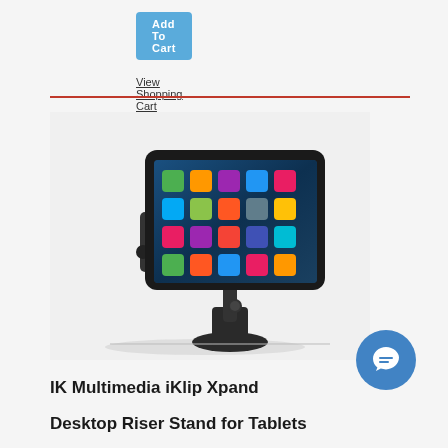Add To Cart
View Shopping Cart
[Figure (photo): Product photo of IK Multimedia iKlip Xpand Desktop Riser Stand for Tablets, showing a tablet (iPad) mounted on a black adjustable desk stand with clamp arms holding the tablet sides, against a white background.]
IK Multimedia iKlip Xpand Desktop Riser Stand for Tablets